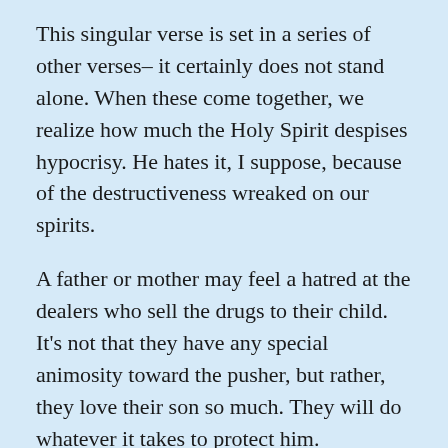This singular verse is set in a series of other verses– it certainly does not stand alone. When these come together, we realize how much the Holy Spirit despises hypocrisy. He hates it, I suppose, because of the destructiveness wreaked on our spirits.
A father or mother may feel a hatred at the dealers who sell the drugs to their child. It's not that they have any special animosity toward the pusher, but rather, they love their son so much. They will do whatever it takes to protect him.
I really think this is what Jesus feels when it comes to the purveyors of religious legalism, or